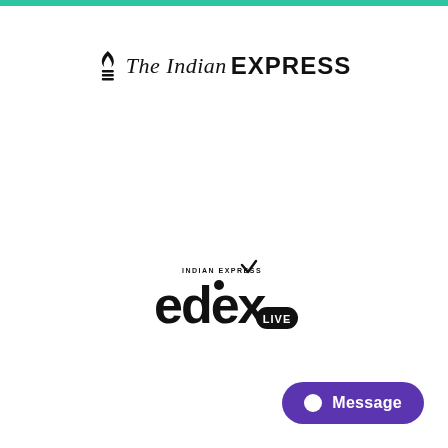[Figure (logo): The Indian Express newspaper logo with stylized icon and italic/bold text]
[Figure (logo): edex LIVE logo — Indian Express education brand with stylized lettering]
Message